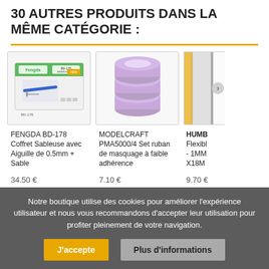30 AUTRES PRODUITS DANS LA MÊME CATÉGORIE :
[Figure (illustration): Product image: FENGDA BD-178 airbrush kit box with green and white packaging]
FENGDA BD-178 Coffret Sableuse avec Aiguille de 0.5mm + Sable
34.50 €
[Figure (illustration): Product image: Three stacked purple/lavender masking tape rolls]
MODELCRAFT PMA5000/4 Set ruban de masquage à faible adhérence
7.10 €
[Figure (illustration): Partial product image showing HUMB Flexible tape 1MM X18M]
HUMB Flexibl - 1MM X18M
9.70 €
Notre boutique utilise des cookies pour améliorer l'expérience utilisateur et nous vous recommandons d'accepter leur utilisation pour profiter pleinement de votre navigation.
J'accepte
Plus d'informations